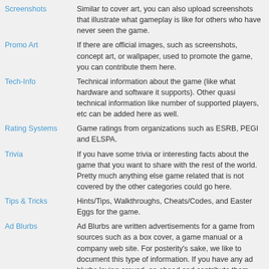Screenshots: Similar to cover art, you can also upload screenshots that illustrate what gameplay is like for others who have never seen the game.
Promo Art: If there are official images, such as screenshots, concept art, or wallpaper, used to promote the game, you can contribute them here.
Tech-Info: Technical information about the game (like what hardware and software it supports). Other quasi technical information like number of supported players, etc can be added here as well.
Rating Systems: Game ratings from organizations such as ESRB, PEGI and ELSPA.
Trivia: If you have some trivia or interesting facts about the game that you want to share with the rest of the world. Pretty much anything else game related that is not covered by the other categories could go here.
Tips & Tricks: Hints/Tips, Walkthroughs, Cheats/Codes, and Easter Eggs for the game.
Ad Blurbs: Ad Blurbs are written advertisements for a game from sources such as a box cover, a game manual or a company web site. For posterity's sake, we like to document this type of information. If you have any ad blurbs laying around, go ahead and contribute them.
Related Sites: Often there are shrines, fan sites, or web rings dedicated to a game. If you want to create a link from MobyGames to a related site.